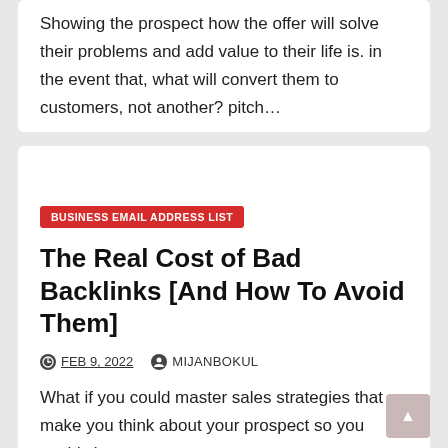Showing the prospect how the offer will solve their problems and add value to their life is. in the event that, what will convert them to customers, not another? pitch…
BUSINESS EMAIL ADDRESS LIST
The Real Cost of Bad Backlinks [And How To Avoid Them]
FEB 9, 2022  MIJANBOKUL
What if you could master sales strategies that make you think about your prospect so you could close